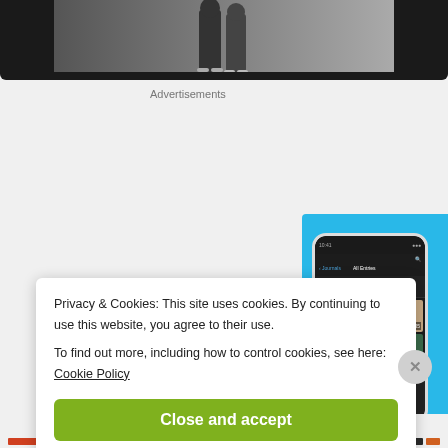[Figure (screenshot): Top cropped image showing two figures standing, dark background]
Advertisements
[Figure (screenshot): DayOne app advertisement on blue background showing phone mockup and text: DAYONE Your Journal for life]
Privacy & Cookies: This site uses cookies. By continuing to use this website, you agree to their use. To find out more, including how to control cookies, see here: Cookie Policy
Close and accept